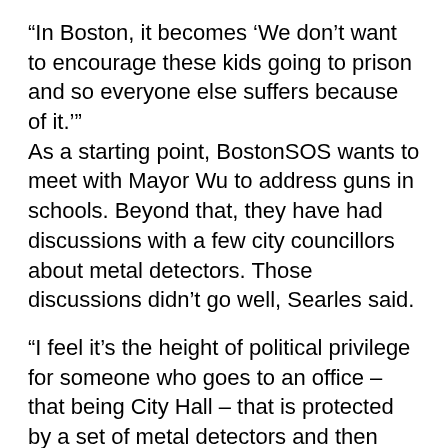“In Boston, it becomes ‘We don’t want to encourage these kids going to prison and so everyone else suffers because of it.’” As a starting point, BostonSOS wants to meet with Mayor Wu to address guns in schools. Beyond that, they have had discussions with a few city councillors about metal detectors. Those discussions didn’t go well, Searles said.
“I feel it’s the height of political privilege for someone who goes to an office – that being City Hall – that is protected by a set of metal detectors and then turns around and says they won’t offer the same protection for children,” he said.
Searles said his group would like to see a plan from Wu that implements early interventions, including School Police, and community-based support